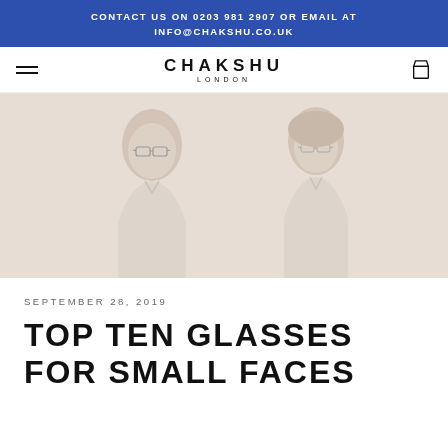CONTACT US ON 0203 981 2907 OR EMAIL AT INFO@CHAKSHU.CO.UK
[Figure (logo): Chakshu London logo with hamburger menu icon on left and shopping bag icon on right]
[Figure (photo): Faded/light beige-toned photo of a man and woman both wearing glasses, wearing light-colored shirts, shown from shoulders up]
SEPTEMBER 28, 2019
TOP TEN GLASSES FOR SMALL FACES